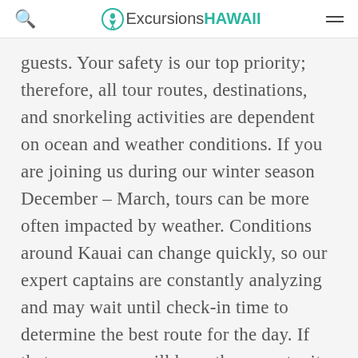ExcursionsHAWAII
guests. Your safety is our top priority; therefore, all tour routes, destinations, and snorkeling activities are dependent on ocean and weather conditions. If you are joining us during our winter season December – March, tours can be more often impacted by weather. Conditions around Kauai can change quickly, so our expert captains are constantly analyzing and may wait until check-in time to determine the best route for the day. If that occurs you will have the opportunity to go on